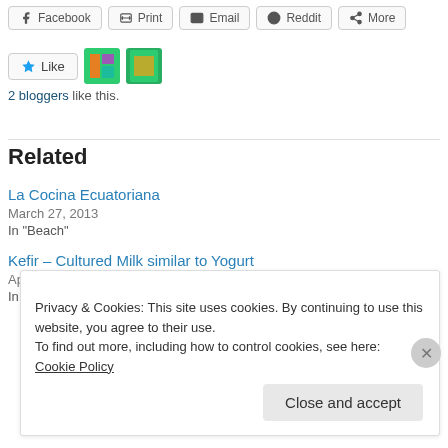Facebook   Print   Email   Reddit   More
2 bloggers like this.
Related
La Cocina Ecuatoriana
March 27, 2013
In "Beach"
Kefir – Cultured Milk similar to Yogurt
April 25, 2015
In "Beach"
Privacy & Cookies: This site uses cookies. By continuing to use this website, you agree to their use.
To find out more, including how to control cookies, see here: Cookie Policy
Close and accept